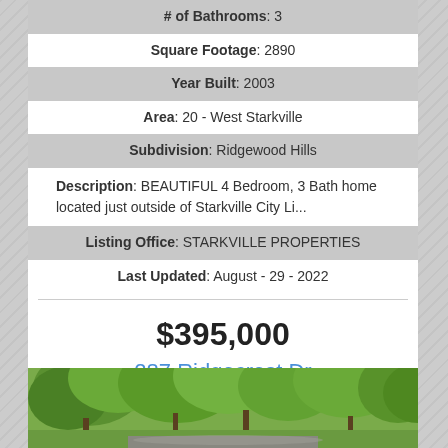# of Bathrooms: 3
Square Footage: 2890
Year Built: 2003
Area: 20 - West Starkville
Subdivision: Ridgewood Hills
Description: BEAUTIFUL 4 Bedroom, 3 Bath home located just outside of Starkville City Li...
Listing Office: STARKVILLE PROPERTIES
Last Updated: August - 29 - 2022
$395,000
287 Ridgecrest Dr Starkville, MS 39759
[Figure (photo): Exterior photo of house at 287 Ridgecrest Dr showing trees and yard]